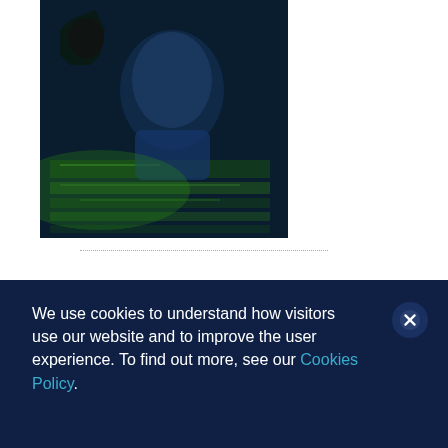[Figure (photo): A young child (toddler) looking at a glowing digital interface with green circuit-board-like patterns, lit in blue tones — illustrating digital natives / technology and children.]
A decade after Prensky, learning design has shifted from constructivism to connectivism, with both support and critique, but also some consensus. When it comes to technologies, education is less about the tools and more how they’re used. With regard to social media the debate includes appropriate
We use cookies to understand how visitors use our website and to improve the user experience. To find out more, see our Cookies Policy.